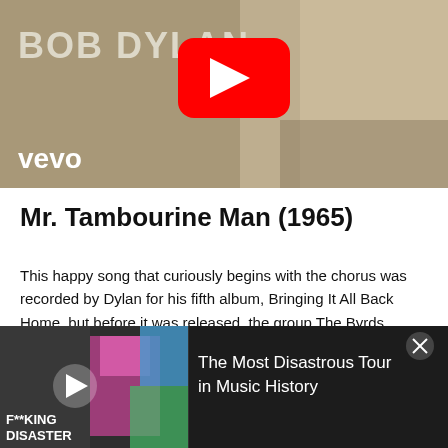[Figure (screenshot): YouTube/Vevo video thumbnail showing Bob Dylan text in upper left, Vevo logo in lower left, YouTube play button in center, black and white face/portrait on the right side. Sepia/tan background.]
Mr. Tambourine Man (1965)
This happy song that curiously begins with the chorus was recorded by Dylan for his fifth album, Bringing It All Back Home, but before it was released, the group The Byrds
[Figure (screenshot): Ad banner at bottom: dark background with thumbnail on left showing grayscale figures and colorful person with headband, text 'F**KING DISASTER' in white, play button. Right side shows text 'The Most Disastrous Tour in Music History' with close/X button.]